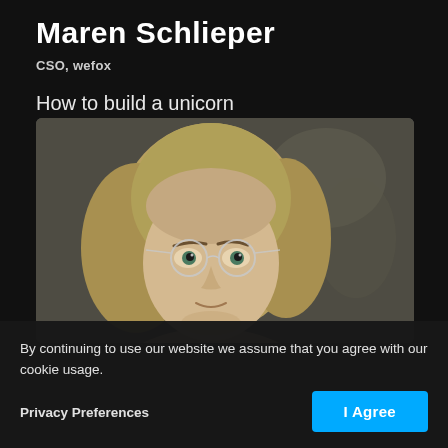Maren Schlieper
CSO, wefox
How to build a unicorn
[Figure (photo): Portrait photo of Maren Schlieper, a blonde woman wearing round clear-framed glasses, photographed against a blurred dark background.]
By continuing to use our website we assume that you agree with our cookie usage.
Privacy Preferences
I Agree